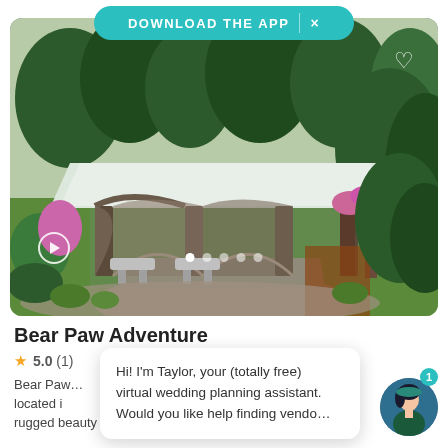DOWNLOAD THE APP  ×
[Figure (photo): Outdoor wedding venue with rustic driftwood pavilion structure, white roof, stone benches, gravel paths, and lush green gardens and trees. Bears a Pacific Northwest woodland aesthetic.]
Bear Paw Adventure
★ 5.0 (1)
Bear Paw... located i... the rugged beauty of the... Read more
Hi! I'm Taylor, your (totally free) virtual wedding planning assistant. Would you like help finding vendo...